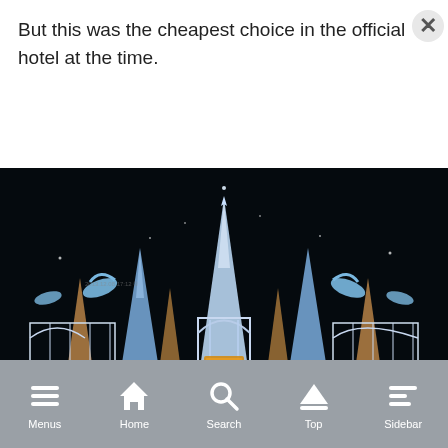But this was the cheapest choice in the official hotel at the time.
[Figure (photo): Night-time outdoor illumination display featuring dolphin sculptures and glowing Christmas-tree-shaped light structures, with an illuminated archway gate in the center against a dark sky.]
Menus  Home  Search  Top  Sidebar